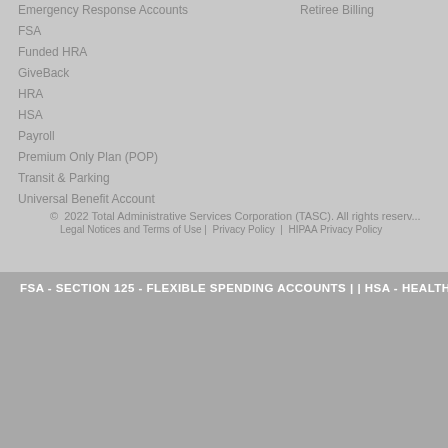Emergency Response Accounts
FSA
Funded HRA
GiveBack
HRA
HSA
Payroll
Premium Only Plan (POP)
Transit & Parking
Universal Benefit Account
Retiree Billing
© 2022 Total Administrative Services Corporation (TASC). All rights reserved.
Legal Notices and Terms of Use | Privacy Policy | HIPAA Privacy Policy
FSA - SECTION 125 - FLEXIBLE SPENDING ACCOUNTS | | HSA - HEALTH SAV